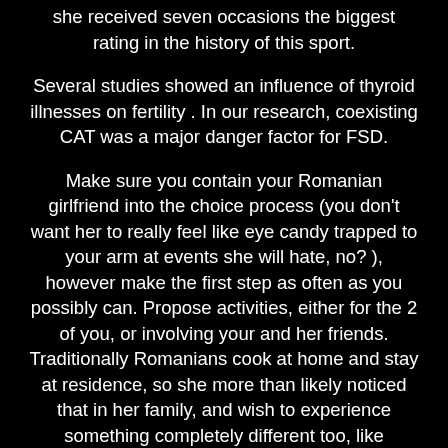she received seven occasions the biggest rating in the history of this sport.
Several studies showed an influence of thyroid illnesses on fertility . In our research, coexisting CAT was a major danger factor for FSD.
Make sure you contain your Romanian girlfriend into the choice process (you don't want her to really feel like eye candy trapped to your arm at events she will hate, no? ), however make the first step as often as you possibly can. Propose activities, either for the 2 of you, or involving your and her friends. Traditionally Romanians cook at home and stay at residence, so she more than likely noticed that in her family, and wish to experience something completely different too, like consuming out from time to time. This exercise is anyway more and more well-liked among the many younger technology in Romania, so she could have friends who do it, and will need to do it too. When you